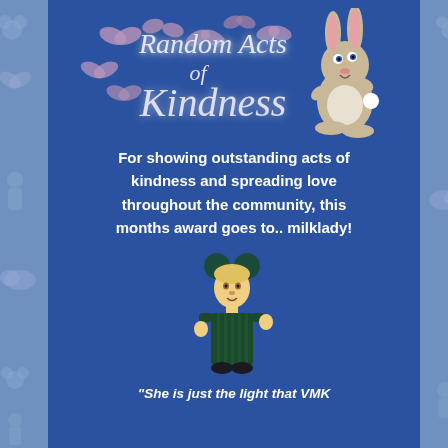Random Acts of Kindness
For showing outstanding acts of kindness and spreading love throughout the community, this months award goes to.. milklady!
[Figure (illustration): Cartoon avatar of a girl in a dark green dress with green Mickey Mouse ears, representing the user 'milklady']
"She is just the light that VMK